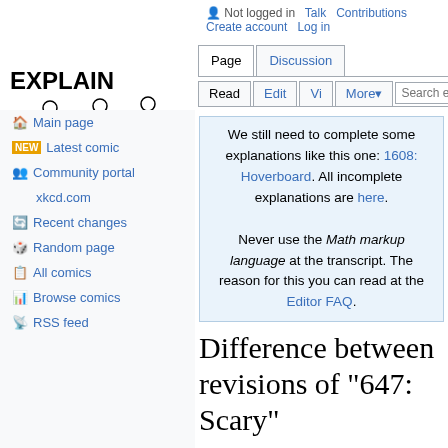[Figure (logo): Explain xkcd logo with stick figures]
Not logged in  Talk  Contributions  Create account  Log in
Main page
Latest comic
Community portal
xkcd.com
Recent changes
Random page
All comics
Browse comics
RSS feed
We still need to complete some explanations like this one: 1608: Hoverboard. All incomplete explanations are here. Never use the Math markup language at the transcript. The reason for this you can read at the Editor FAQ.
Difference between revisions of "647: Scary"